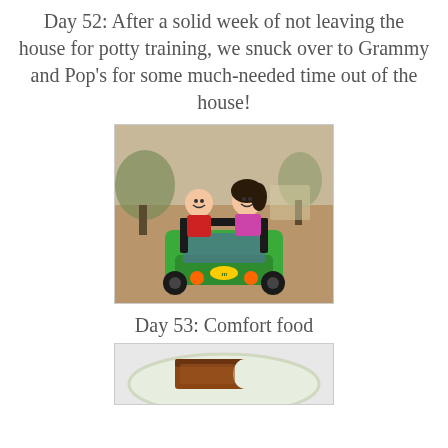Day 52: After a solid week of not leaving the house for potty training, we snuck over to Grammy and Pop's for some much-needed time out of the house!
[Figure (photo): Two young children (a boy in red and a girl in pink/purple) sitting in a green John Deere ride-on toy vehicle outdoors on a brown grass lawn with trees in the background.]
Day 53: Comfort food
[Figure (photo): A slice of brown cake or bread on a white decorative plate, partially eaten, showing the interior crumb.]